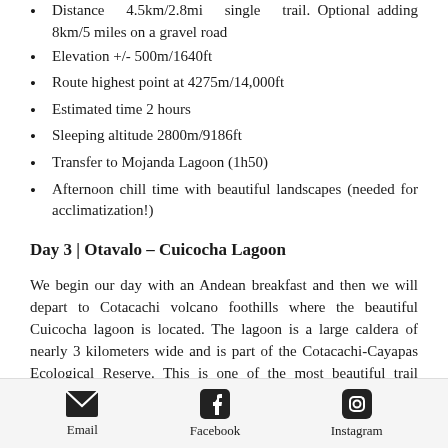Distance 4.5km/2.8mi single trail. Optional adding 8km/5 miles on a gravel road
Elevation +/- 500m/1640ft
Route highest point at 4275m/14,000ft
Estimated time 2 hours
Sleeping altitude 2800m/9186ft
Transfer to Mojanda Lagoon (1h50)
Afternoon chill time with beautiful landscapes (needed for acclimatization!)
Day 3 | Otavalo – Cuicocha Lagoon
We begin our day with an Andean breakfast and then we will depart to Cotacachi volcano foothills where the beautiful Cuicocha lagoon is located. The lagoon is a large caldera of nearly 3 kilometers wide and is part of the Cotacachi-Cayapas Ecological Reserve. This is one of the most beautiful trail running routes in Ecuador. An undulating route at high altitude, with
Email  Facebook  Instagram